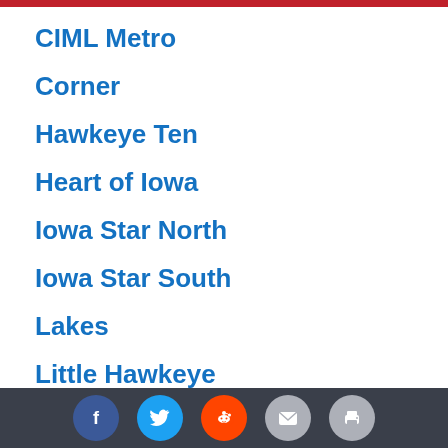CIML Metro
Corner
Hawkeye Ten
Heart of Iowa
Iowa Star North
Iowa Star South
Lakes
Little Hawkeye
MRC
MVC Mississippi
MVC Valley
North Central
Northeast Iowa
Social share bar with Facebook, Twitter, Reddit, Email, Print icons